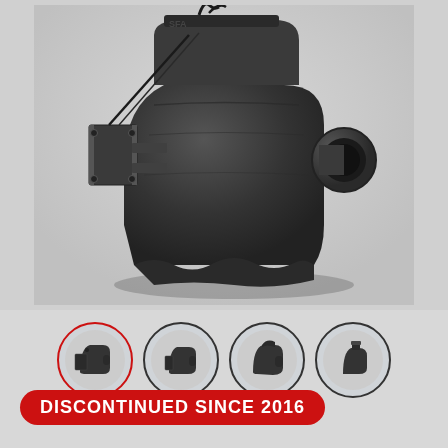[Figure (photo): Large product photo of a black industrial pump/lifting station unit with a metal bracket mount on the left side and a pipe outlet on the right, photographed on a light grey background.]
[Figure (photo): Row of four circular thumbnail images showing different views of the same black pump unit. The first thumbnail has a red border (active/selected), the remaining three have dark grey borders.]
DISCONTINUED SINCE 2016